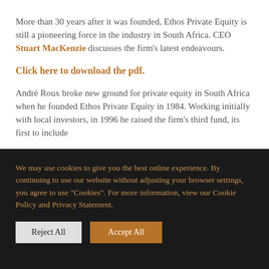More than 30 years after it was founded, Ethos Private Equity is still a pioneering force in the industry in South Africa. CEO Stuart MacKenzie discusses the firm's latest endeavours.
Click here to download the pdf.
André Roux broke new ground for private equity in South Africa when he founded Ethos Private Equity in 1984. Working initially with local investors, in 1996 he raised the firm's third fund, its first to include
We may use cookies to give you the best online experience. By continuing to use our website without adjusting your browser settings, you agree to use "Cookies". For more information, view our Cookie Policy and Privacy Statement.